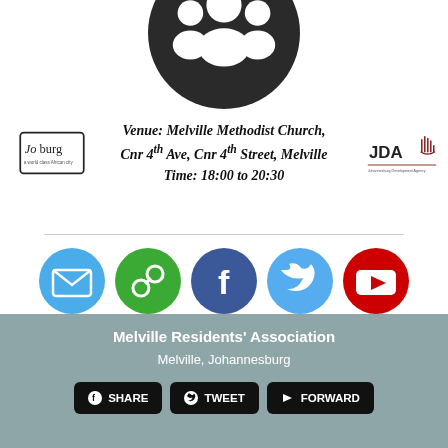[Figure (illustration): Dark circular icon with silhouettes of three people (community/group icon), partially cropped at top]
Venue: Melville Methodist Church, Cnr 4th Ave, Cnr 4th Street, Melville
Time: 18:00 to 20:30
[Figure (logo): Joburg city logo on left side]
[Figure (logo): JDA logo on right side]
[Figure (infographic): Row of five social media icon buttons: Email (blue), Link (green), Facebook (dark blue), Twitter (light blue), YouTube (red)]
Melville Residents' Association
Melville, Johannesburg
[Figure (infographic): Three share buttons: SHARE (Facebook), TWEET (Twitter), FORWARD (arrow)]